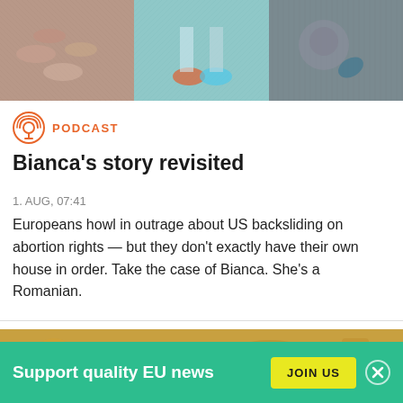[Figure (photo): Three-panel collage header image: left panel shows pills/medication in pinkish-gray tones, center panel shows person's legs with colorful sneakers on teal background, right panel shows a face icon or coin with stethoscope in dark gray tones.]
PODCAST
Bianca's story revisited
1. AUG, 07:41
Europeans howl in outrage about US backsliding on abortion rights — but they don't exactly have their own house in order. Take the case of Bianca. She's a Romanian.
[Figure (photo): Close-up photo of golden/copper colored rounded object, possibly laboratory or medical equipment, with warm golden tones.]
Support quality EU news
JOIN US